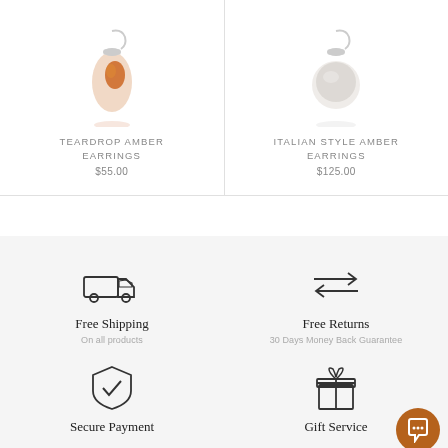TEARDROP AMBER EARRINGS
$55.00
ITALIAN STYLE AMBER EARRINGS
$125.00
Free Shipping
On all products
Free Returns
30 Days Money Back Guarantee
Secure Payment
Gift Service